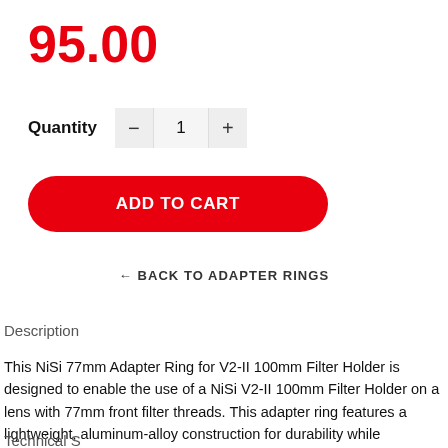95.00
Quantity − 1 +
ADD TO CART
← BACK TO ADAPTER RINGS
Description
This NiSi 77mm Adapter Ring for V2-II 100mm Filter Holder is designed to enable the use of a NiSi V2-II 100mm Filter Holder on a lens with 77mm front filter threads. This adapter ring features a lightweight, aluminum-alloy construction for durability while remaining lightweight.
Technical S